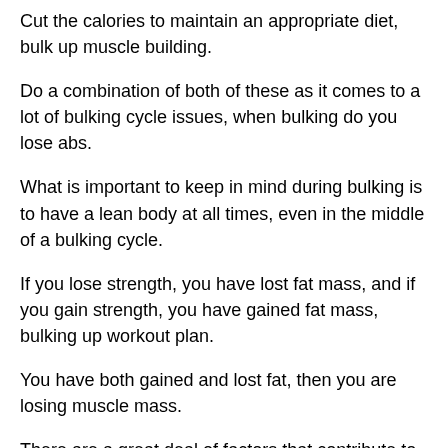Cut the calories to maintain an appropriate diet, bulk up muscle building.
Do a combination of both of these as it comes to a lot of bulking cycle issues, when bulking do you lose abs.
What is important to keep in mind during bulking is to have a lean body at all times, even in the middle of a bulking cycle.
If you lose strength, you have lost fat mass, and if you gain strength, you have gained fat mass, bulking up workout plan.
You have both gained and lost fat, then you are losing muscle mass.
There are a great deal of factors that contribute to this process.
You also lose muscle while bulked, and keep